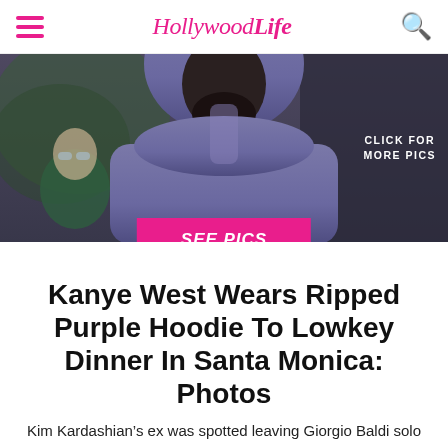HollywoodLife
[Figure (photo): Man wearing a ripped purple hoodie, photographed outdoors from the chest up. Another person visible in the background on the left. Text overlay on the right reads 'CLICK FOR MORE PICS'. A pink button overlay reads 'SEE PICS'.]
Kanye West Wears Ripped Purple Hoodie To Lowkey Dinner In Santa Monica: Photos
Kim Kardashian’s ex was spotted leaving Giorgio Baldi solo as he rocked a hoodie and hat that looked a bit worse for wear.